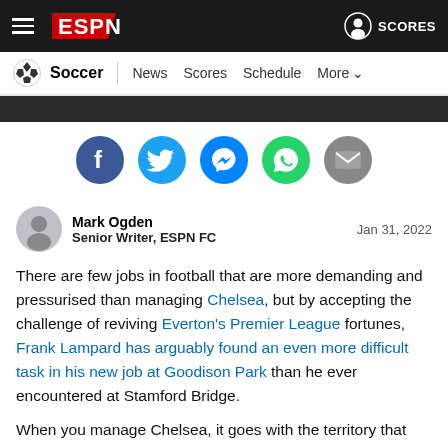ESPN — Soccer | News | Scores | Schedule | More | SCORES
[Figure (infographic): Social share icons: Facebook, Twitter, Messenger, WhatsApp, Email]
Mark Ogden — Senior Writer, ESPN FC — Jan 31, 2022
There are few jobs in football that are more demanding and pressurised than managing Chelsea, but by accepting the challenge of reviving Everton's Premier League fortunes, Frank Lampard has arguably found an even more difficult task in his new job at Goodison Park than he ever encountered at Stamford Bridge.
When you manage Chelsea, it goes with the territory that